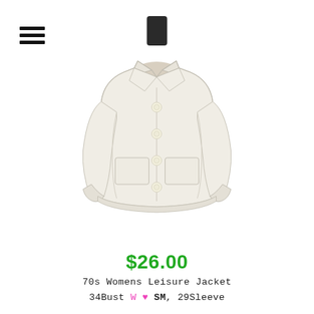[Figure (photo): White/cream vintage 70s womens leisure jacket displayed on a mannequin, with notched lapels, three buttons, and two front patch pockets.]
$26.00
70s Womens Leisure Jacket
34Bust W ♥ SM, 29Sleeve